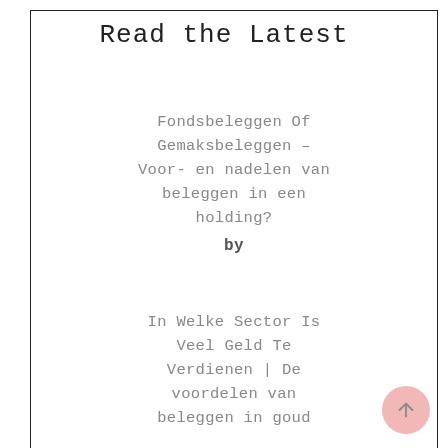Read the Latest
Fondsbeleggen Of Gemaksbeleggen – Voor- en nadelen van beleggen in een holding?
by
In Welke Sector Is Veel Geld Te Verdienen | De voordelen van beleggen in goud